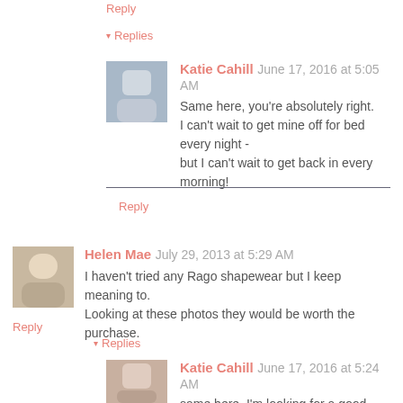Reply
▾ Replies
Katie Cahill  June 17, 2016 at 5:05 AM
Same here, you're absolutely right.
I can't wait to get mine off for bed every night - but I can't wait to get back in every morning!
Reply
Helen Mae  July 29, 2013 at 5:29 AM
I haven't tried any Rago shapewear but I keep meaning to. Looking at these photos they would be worth the purchase.
Reply
▾ Replies
Katie Cahill  June 17, 2016 at 5:24 AM
same here, I'm looking for a good rago like that